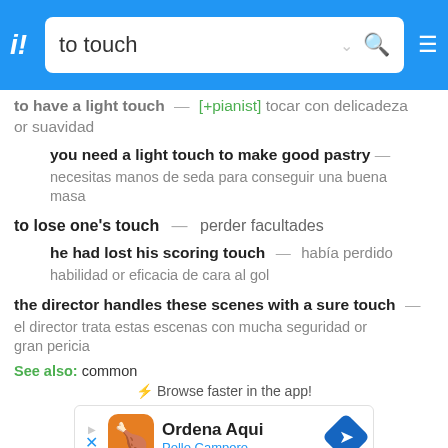to touch
to have a light touch — [+pianist] tocar con delicadeza or suavidad
you need a light touch to make good pastry — necesitas manos de seda para conseguir una buena masa
to lose one's touch — perder facultades
he had lost his scoring touch — había perdido habilidad or eficacia de cara al gol
the director handles these scenes with a sure touch — el director trata estas escenas con mucha seguridad or gran pericia
See also: common
⚡ Browse faster in the app!
[Figure (infographic): Advertisement for Ordena Aqui - Pollo Campero with logo and navigation arrow icon]